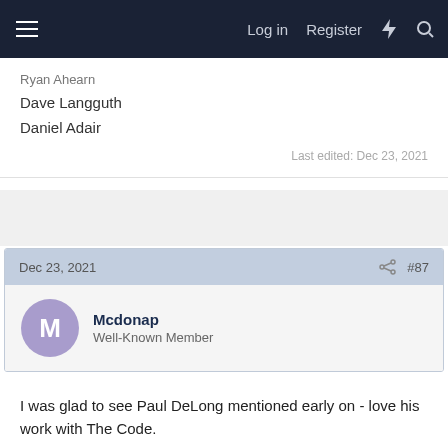Log in  Register
Ryan Ahearn
Dave Langguth
Daniel Adair
Last edited: Dec 23, 2021
Dec 23, 2021  #87
Mcdonap
Well-Known Member
I was glad to see Paul DeLong mentioned early on - love his work with The Code.
I didn't see Vito Rezza mentioned - phenomenal drummer with 5 After 4.